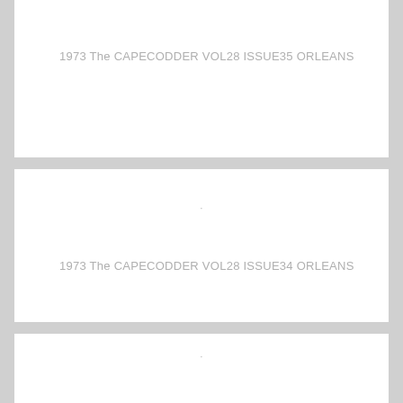1973 The CAPECODDER VOL28 ISSUE35 ORLEANS
1973 The CAPECODDER VOL28 ISSUE34 ORLEANS